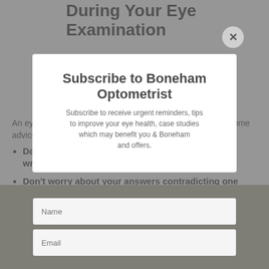During Your Eye Examination
An eye examination is a routine and pleasant experience. Some advice:
Don't worry about making a mistake or giving the wrong answer
Don't worry about your answers contradicting one another
Don't hesitate to say so if you are unable to answer some of the questions
Don't be alarmed if, for a few minutes during the examination, you find your vision getting worse instead of better.
Subscribe to Boneham Optometrist
Subscribe to receive urgent reminders, tips to improve your eye health, case studies which may benefit you & Boneham and offers.